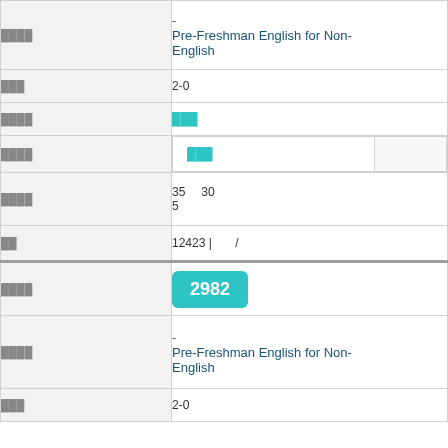| ████ | - Pre-Freshman English for Non-English |
| ███ | 2-0 |
| ████ | ███ |
| ████ | ███ |
| ████ | 35  30
5 |
| ██ | 12423 |  / |
| ████ | 2982 |
| ████ | - Pre-Freshman English for Non-English |
| ███ | 2-0 |